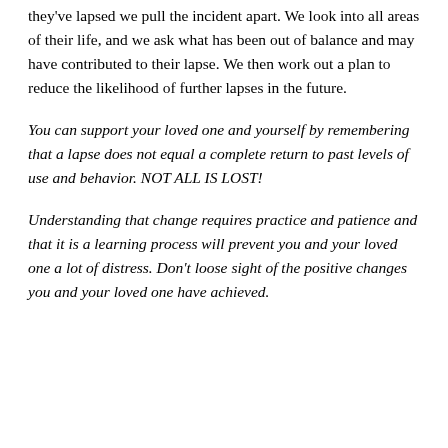they've lapsed we pull the incident apart. We look into all areas of their life, and we ask what has been out of balance and may have contributed to their lapse. We then work out a plan to reduce the likelihood of further lapses in the future.
You can support your loved one and yourself by remembering that a lapse does not equal a complete return to past levels of use and behavior. NOT ALL IS LOST!
Understanding that change requires practice and patience and that it is a learning process will prevent you and your loved one a lot of distress. Don't loose sight of the positive changes you and your loved one have achieved.